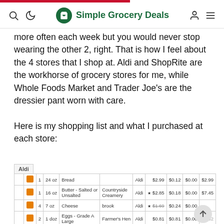Simple Grocery Deals
more often each week but you would never stop wearing the other 2, right. That is how I feel about the 4 stores that I shop at. Aldi and ShopRite are the workhorse of grocery stores for me, while Whole Foods Market and Trader Joe's are the dressier pant worn with care.

Here is my shopping list and what I purchased at each store:
|  |  | Qty | Size | Item | Brand | Store | Price | Per Unit | Savings | Total |
| --- | --- | --- | --- | --- | --- | --- | --- | --- | --- | --- |
|  |  | 1 | 24 oz | Bread |  | Aldi | $2.99 | $0.12 | $0.00 | $2.99 |
|  |  | 1 | 16 oz | Butter - Salted or Unsalted | Countryside Creamery | Aldi | ★ $2.85 | $0.18 | $0.00 | $7.45 |
|  |  | 4 | 7 oz | Cheese | brook | Aldi | ★ $1.69 | $0.24 | $0.00 |  |
|  |  | 2 | 1 doz | Eggs - Grade A Large | Farmer's Hen | Aldi | $0.81 | $0.81 | $0.00 | $1.62 |